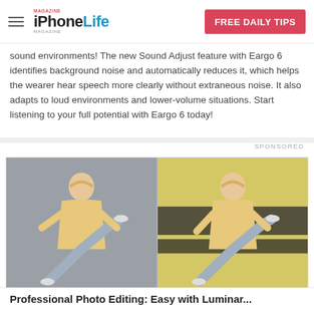iPhone Life
sound environments! The new Sound Adjust feature with Eargo 6 identifies background noise and automatically reduces it, which helps the wearer hear speech more clearly without extraneous noise. It also adapts to loud environments and lower-volume situations. Start listening to your full potential with Eargo 6 today!
SPONSORED
[Figure (photo): Two side-by-side photos of a person in a yellow hoodie and jeans doing a high kick pose. Left photo has a grey/dark background, right photo has a yellow background.]
Professional Photo Editing: Easy with Luminar...